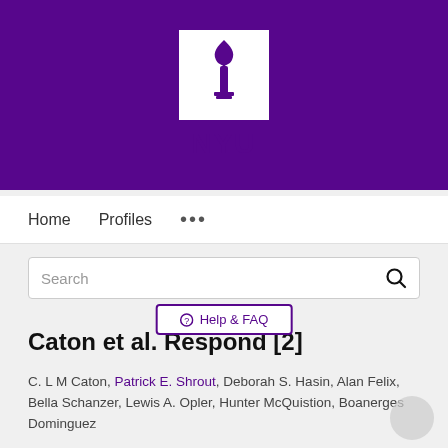[Figure (logo): NYU logo with torch icon on white background, set against purple banner header]
Help & FAQ
Home   Profiles   ...
Search
Caton et al. Respond [2]
C. L M Caton, Patrick E. Shrout, Deborah S. Hasin, Alan Felix, Bella Schanzer, Lewis A. Opler, Hunter McQuistion, Boanerges Dominguez